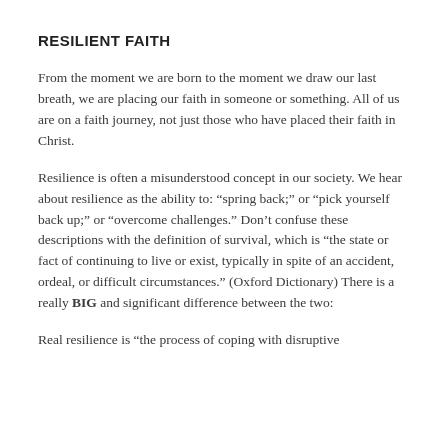RESILIENT FAITH
From the moment we are born to the moment we draw our last breath, we are placing our faith in someone or something. All of us are on a faith journey, not just those who have placed their faith in Christ.
Resilience is often a misunderstood concept in our society. We hear about resilience as the ability to: “spring back;” or “pick yourself back up;” or “overcome challenges.” Don’t confuse these descriptions with the definition of survival, which is “the state or fact of continuing to live or exist, typically in spite of an accident, ordeal, or difficult circumstances.” (Oxford Dictionary) There is a really BIG and significant difference between the two:
Real resilience is “the process of coping with disruptive